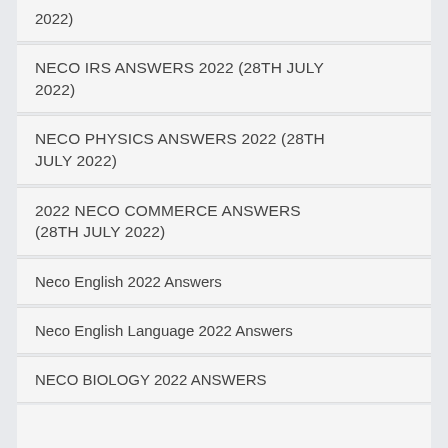2022)
NECO IRS ANSWERS 2022 (28TH JULY 2022)
NECO PHYSICS ANSWERS 2022 (28TH JULY 2022)
2022 NECO COMMERCE ANSWERS (28TH JULY 2022)
Neco English 2022 Answers
Neco English Language 2022 Answers
NECO BIOLOGY 2022 ANSWERS